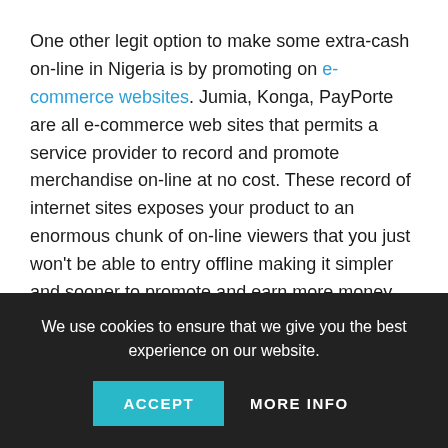One other legit option to make some extra-cash on-line in Nigeria is by promoting on e-commerce websites. Jumia, Konga, PayPorte are all e-commerce web sites that permits a service provider to record and promote merchandise on-line at no cost. These record of internet sites exposes your product to an enormous chunk of on-line viewers that you just won't be able to entry offline making it simpler and sooner to promote and earn more money on-line.
#6. Affiliate Advertising
In the event you've obtained presence on social media or
We use cookies to ensure that we give you the best experience on our website.